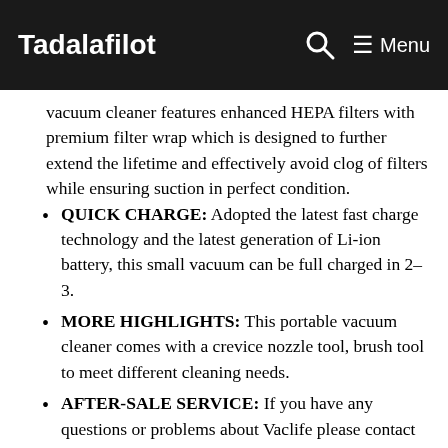Tadalafilot | Menu
vacuum cleaner features enhanced HEPA filters with premium filter wrap which is designed to further extend the lifetime and effectively avoid clog of filters while ensuring suction in perfect condition.
QUICK CHARGE: Adopted the latest fast charge technology and the latest generation of Li-ion battery, this small vacuum can be full charged in 2-3.
MORE HIGHLIGHTS: This portable vacuum cleaner comes with a crevice nozzle tool, brush tool to meet different cleaning needs.
AFTER-SALE SERVICE: If you have any questions or problems about Vaclife please contact us to get help.